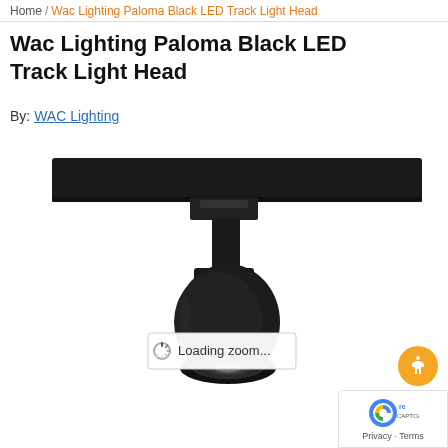Home / Wac Lighting Paloma Black LED Track Light Head
Wac Lighting Paloma Black LED Track Light Head
By: WAC Lighting
[Figure (photo): Black LED track light head (Wac Lighting Paloma) mounted on a black track rail, with a cylindrical spotlight head angled downward. A 'Loading zoom...' tooltip overlay is visible on the image.]